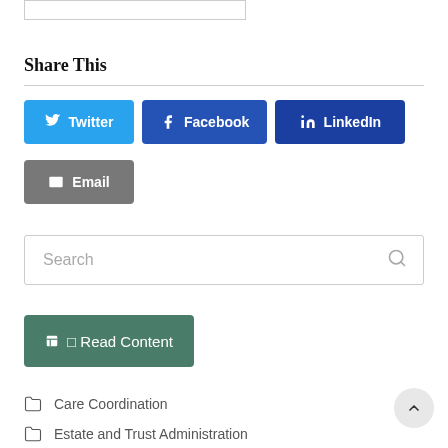[Figure (screenshot): Partial cropped box at top of page from previous content]
Share This
[Figure (infographic): Social share buttons: Twitter (blue), Facebook (blue), LinkedIn (dark blue), Email (gray)]
[Figure (screenshot): Search input field with placeholder text 'Search' and magnifying glass icon on the right]
[Figure (infographic): Read Content button in dark teal/green color]
Care Coordination
Estate and Trust Administration